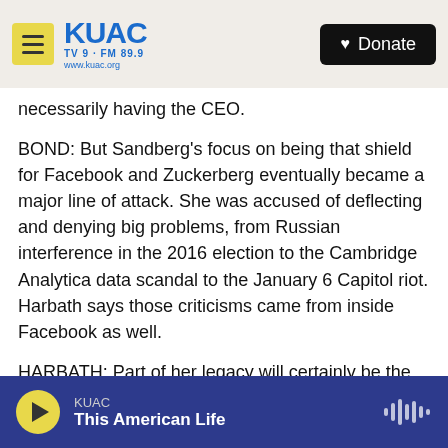KUAC TV 9 · FM 89.9 www.kuac.org | Donate
necessarily having the CEO.
BOND: But Sandberg's focus on being that shield for Facebook and Zuckerberg eventually became a major line of attack. She was accused of deflecting and denying big problems, from Russian interference in the 2016 election to the Cambridge Analytica data scandal to the January 6 Capitol riot. Harbath says those criticisms came from inside Facebook as well.
HARBATH: Part of her legacy will certainly be the fact that those things need to be paid attention to a lot so as to make sure they don't become really
KUAC | This American Life